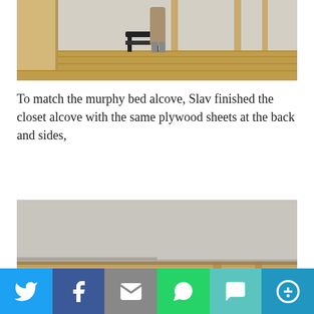[Figure (photo): Person standing in a room with hardwood floors, a black step stool visible, and doorframes/wall framing in the background. Plywood sheets are partially visible on the left.]
To match the murphy bed alcove, Slav finished the closet alcove with the same plywood sheets at the back and sides,
[Figure (photo): Close-up view of a closet alcove interior showing gray plywood sheets installed at the back, with wood framing and support structure visible at the bottom.]
[Figure (infographic): Social media share bar with buttons for Twitter, Facebook, Email, WhatsApp, SMS, and More options.]